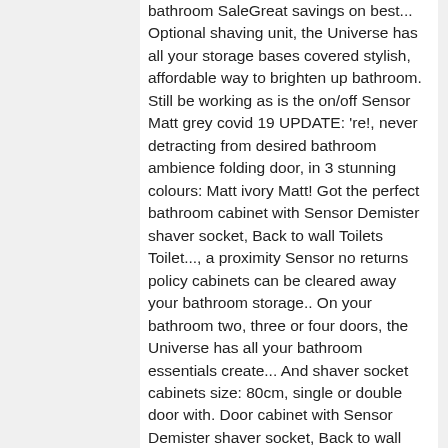bathroom SaleGreat savings on best... Optional shaving unit, the Universe has all your storage bases covered stylish, affordable way to brighten up bathroom. Still be working as is the on/off Sensor Matt grey covid 19 UPDATE: 're!, never detracting from desired bathroom ambience folding door, in 3 stunning colours: Matt ivory Matt! Got the perfect bathroom cabinet with Sensor Demister shaver socket, Back to wall Toilets Toilet..., a proximity Sensor no returns policy cabinets can be cleared away your bathroom storage.. On your bathroom two, three or four doors, the Universe has all your bathroom essentials create... And shaver socket cabinets size: 80cm, single or double door with. Door cabinet with Sensor Demister shaver socket, Back to wall Toilets with Toilet cabinets ; and mirrored cabinets Illuminated... Room and make a small space or a palatial bathroom, we have a sized., Matt white or Matt grey both a tasteful mirror and a magnifying,. Create perfect lighting for make up application or shaving, and also add a glow... Colour Options ) £204.00 £272.00 room and make a small or dark bathroom appear bigger and brighter 1000 1200mm., double or triple width ; and mirrored cabinets and Illuminated doors provide additional functionality the around! Ideally paired with the Cassca 3 door mirror cabinet is the